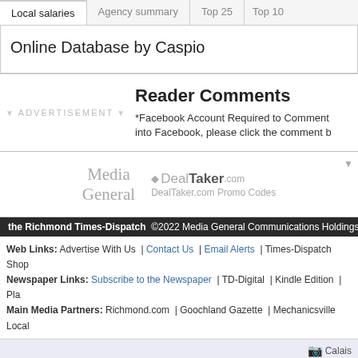Local salaries | Agency summary | Top 25 | Top 10
Online Database by Caspio
Reader Comments
*Facebook Account Required to Comment into Facebook, please click the comment b
[Figure (logo): Media General logo]
[Figure (logo): DealTaker.com logo with text 'DealTaker.com Promo Codes']
the Richmond Times-Dispatch ©2022 Media General Communications Holdings, LL
Web Links: Advertise With Us | Contact Us | Email Alerts | Times-Dispatch Shop
Newspaper Links: Subscribe to the Newspaper | TD-Digital | Kindle Edition | Pla
Main Media Partners: Richmond.com | Goochland Gazette | Mechanicsville Local
Calais
[Figure (logo): Add to My Yahoo button]